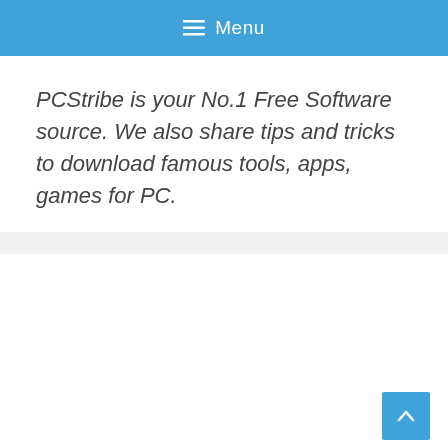≡ Menu
PCStribe is your No.1 Free Software source. We also share tips and tricks to download famous tools, apps, games for PC.